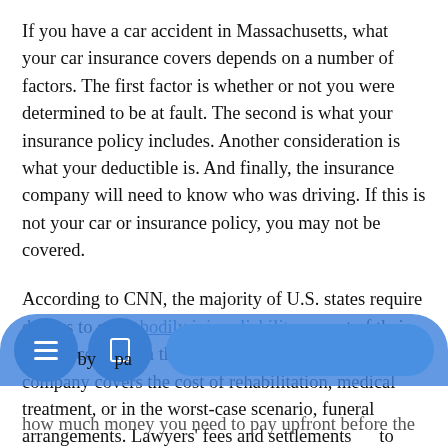If you have a car accident in Massachusetts, what your car insurance covers depends on a number of factors. The first factor is whether or not you were determined to be at fault. The second is what your insurance policy includes. Another consideration is what your deductible is. And finally, the insurance company will need to know who was driving. If this is not your car or insurance policy, you may not be covered.
According to CNN, the majority of U.S. states require drivers to carry bodily injury liability as part of their insurance plan. In this instance, the auto insurance company covers the cost of rehabilitation, medical treatment, or in the worst-case scenario, funeral arrangements. Lawyers' fees and settlements [obscured] to pa[obscured] ... how much money you need to pay upfront before the